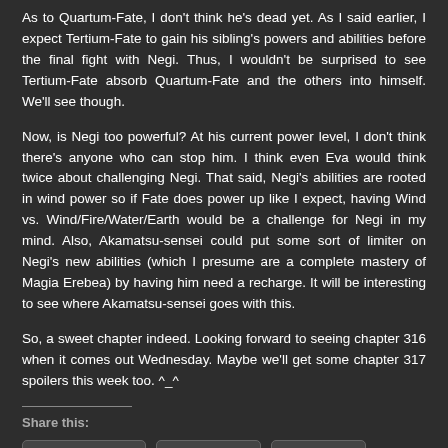As to Quartum-Fate, I don't think he's dead yet. As I said earlier, I expect Tertium-Fate to gain his sibling's powers and abilities before the final fight with Negi. Thus, I wouldn't be surprised to see Tertium-Fate absorb Quartum-Fate and the others into himself. We'll see though.
Now, is Negi too powerful? At his current power level, I don't think there's anyone who can stop him. I think even Eva would think twice about challenging Negi. That said, Negi's abilities are rooted in wind power so if Fate does power up like I expect, having Wind vs. Wind/Fire/Water/Earth would be a challenge for Negi in my mind. Also, Akamatsu-sensei could put some sort of limiter on Negi's new abilities (which I presume are a complete mastery of Magia Erebea) by having him need a recharge. It will be interesting to see where Akamatsu-sensei goes with this.
So, a sweet chapter indeed. Looking forward to seeing chapter 316 when it comes out Wednesday. Maybe we'll get some chapter 317 spoilers this week too. ^_^
Share this:
Facebook  Twitter  More